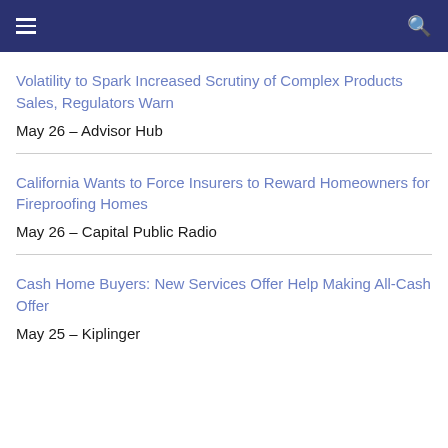Volatility to Spark Increased Scrutiny of Complex Products Sales, Regulators Warn
May 26 – Advisor Hub
California Wants to Force Insurers to Reward Homeowners for Fireproofing Homes
May 26 – Capital Public Radio
Cash Home Buyers: New Services Offer Help Making All-Cash Offer
May 25 – Kiplinger